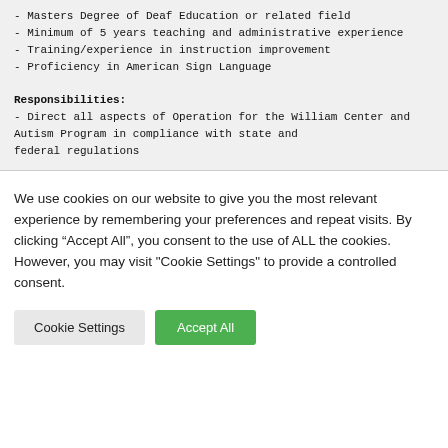- Masters Degree of Deaf Education or related field
- Minimum of 5 years teaching and administrative experience
- Training/experience in instruction improvement
- Proficiency in American Sign Language
Responsibilities:
- Direct all aspects of Operation for the William Center and Autism Program in compliance with state and federal regulations
We use cookies on our website to give you the most relevant experience by remembering your preferences and repeat visits. By clicking “Accept All”, you consent to the use of ALL the cookies. However, you may visit "Cookie Settings" to provide a controlled consent.